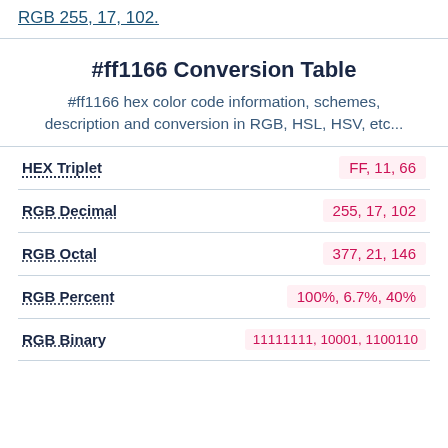RGB 255, 17, 102.
#ff1166 Conversion Table
#ff1166 hex color code information, schemes, description and conversion in RGB, HSL, HSV, etc...
| Property | Value |
| --- | --- |
| HEX Triplet | FF, 11, 66 |
| RGB Decimal | 255, 17, 102 |
| RGB Octal | 377, 21, 146 |
| RGB Percent | 100%, 6.7%, 40% |
| RGB Binary | 11111111, 10001, 1100110 |